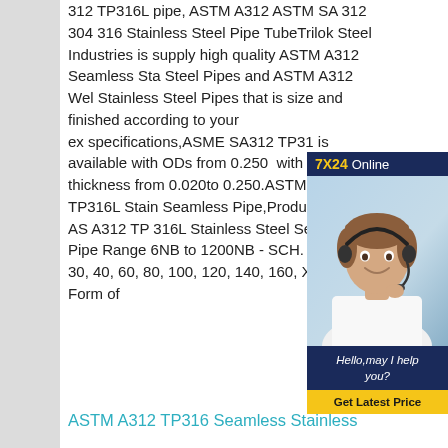312 TP316L pipe, ASTM A312 ASTM SA 312 304 316 Stainless Steel Pipe TubeTrilok Steel Industries is supply high quality ASTM A312 Seamless Stainless Steel Pipes and ASTM A312 Welded Stainless Steel Pipes that is sized and finished according to your exact specifications,ASME SA312 TP316 is available with ODs from 0.250 to with wall thickness from 0.020to 0.250.ASTM A312 TP316L Stainless Seamless Pipe,Product Name ASTM A312 TP 316L Stainless Steel Seamless Pipe Range 6NB to 1200NB - SCH. 5, 10, 20, 30, 40, 60, 80, 100, 120, 140, 160, XXS. In Form of
[Figure (other): Chat widget showing '7X24 Online' header in dark navy background with yellow '7X24' text, a photo of a woman with a headset smiling, and a dark navy section with italic white text 'Hello,may I help you?' and a yellow 'Get Latest Price' button.]
ASTM A312 TP316 Seamless Stainless